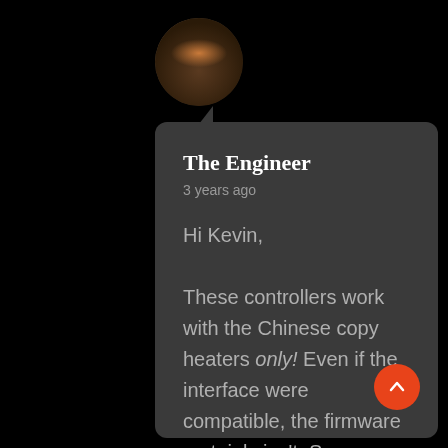[Figure (photo): Circular avatar photo of a person, dark toned]
The Engineer
3 years ago
Hi Kevin,

These controllers work with the Chinese copy heaters only! Even if the interface were compatible, the firmware certainly isn't. Sorry about that!